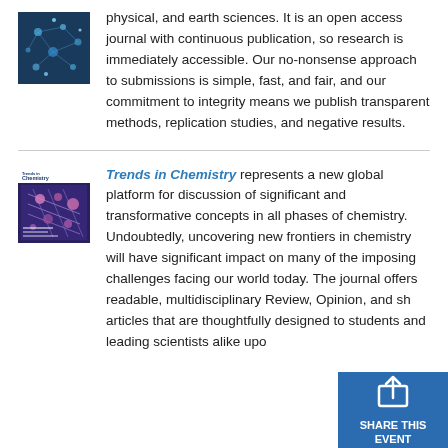physical, and earth sciences. It is an open access journal with continuous publication, so research is immediately accessible. Our no-nonsense approach to submissions is simple, fast, and fair, and our commitment to integrity means we publish transparent methods, replication studies, and negative results.
[Figure (photo): Cover image of a scientific journal showing a network/data visualization with blue tones]
[Figure (photo): Cover image of Trends in Chemistry journal showing a molecular/chemical structure visualization in purple and blue]
Trends in Chemistry represents a new global platform for discussion of significant and transformative concepts in all phases of chemistry. Undoubtedly, uncovering new frontiers in chemistry will have significant impact on many of the imposing challenges facing our world today. The journal offers readable, multidisciplinary Review, Opinion, and sh... articles that are thoughtfully designed to... students and leading scientists alike upo...